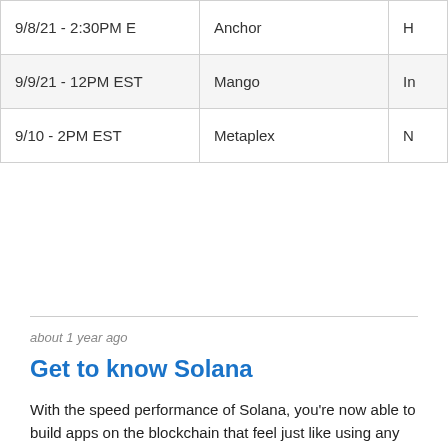| Date | Project | Details |
| --- | --- | --- |
| 9/8/21 - 2:30PM E… | Anchor | H… |
| 9/9/21 - 12PM EST | Mango | In… |
| 9/10 - 2PM EST | Metaplex | N… |
about 1 year ago
Get to know Solana
With the speed performance of Solana, you're now able to build apps on the blockchain that feel just like using any web 2 application. This opens up developers to a world where they can recreate any application that exists today on-chain. Decentralized Finance, NFTs, Social Media? Anything is possible with Solana.
The Solana Developers Page has everything you need to